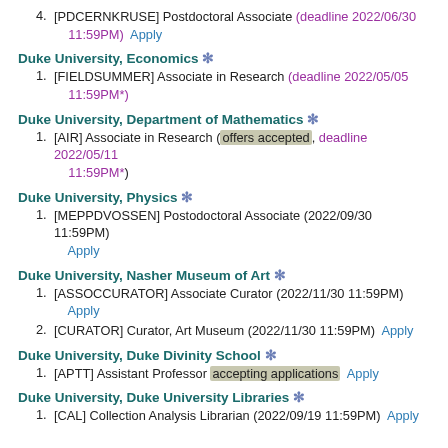4. [PDCERNKRUSE] Postdoctoral Associate (deadline 2022/06/30 11:59PM)  Apply
Duke University, Economics *
1. [FIELDSUMMER] Associate in Research (deadline 2022/05/05 11:59PM*)
Duke University, Department of Mathematics *
1. [AIR] Associate in Research (offers accepted, deadline 2022/05/11 11:59PM*)
Duke University, Physics *
1. [MEPPDVOSSEN] Postodoctoral Associate (2022/09/30 11:59PM)  Apply
Duke University, Nasher Museum of Art *
1. [ASSOCCURATOR] Associate Curator (2022/11/30 11:59PM)  Apply
2. [CURATOR] Curator, Art Museum (2022/11/30 11:59PM)  Apply
Duke University, Duke Divinity School *
1. [APTT] Assistant Professor (accepting applications)  Apply
Duke University, Duke University Libraries *
1. [CAL] Collection Analysis Librarian (2022/09/19 11:59PM)  Apply